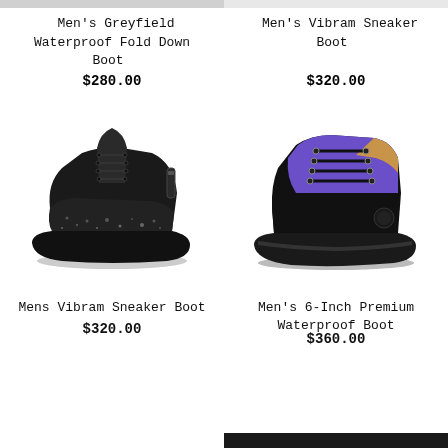[Figure (photo): Partial image visible at top of page - shoe product image cropped]
Men's Greyfield Waterproof Fold Down Boot
$280.00
Men's Vibram Sneaker Boot
$320.00
[Figure (photo): Black high-top Vibram sneaker boot]
[Figure (photo): Men's 6-Inch Premium Waterproof Boot in black with purple and tan accents]
Mens Vibram Sneaker Boot
$320.00
Men's 6-Inch Premium Waterproof Boot
$360.00